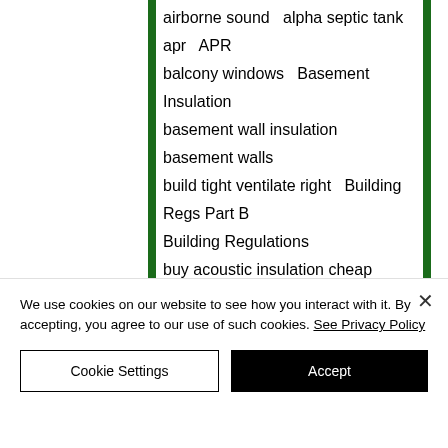airborne sound   alpha septic tank   apr   APR
balcony windows   Basement Insulation
basement wall insulation   basement walls
build tight ventilate right   Building Regs Part B
Building Regulations
buy acoustic insulation cheap
buy sound insulation   buying recticel insulation
ceiling grid   ceiling pads   celotex   Celotex
celotex PL board   central extract system
cesspool   cheap suspended ceiling insulation
We use cookies on our website to see how you interact with it. By accepting, you agree to our use of such cookies. See Privacy Policy